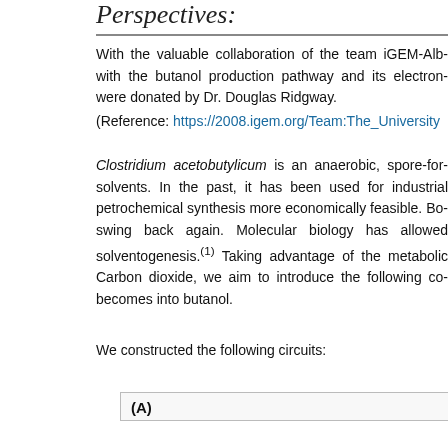Perspectives:
With the valuable collaboration of the team iGEM-Alb... with the butanol production pathway and its electron-... were donated by Dr. Douglas Ridgway.
(Reference: https://2008.igem.org/Team:The_University...)
Clostridium acetobutylicum is an anaerobic, spore-for... solvents. In the past, it has been used for industrial... petrochemical synthesis more economically feasible. Bo... swing back again. Molecular biology has allowed... solventogenesis.(1) Taking advantage of the metabolic... Carbon dioxide, we aim to introduce the following co... becomes into butanol.
We constructed the following circuits:
(A)